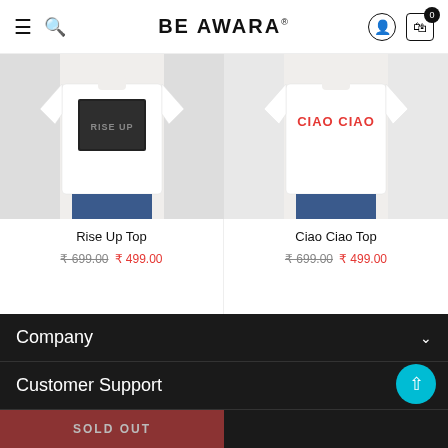BE AWARA
[Figure (photo): Product photo of Rise Up Top — white t-shirt with black graphic print]
Rise Up Top
₹ 699.00  ₹ 499.00
[Figure (photo): Product photo of Ciao Ciao Top — white t-shirt with red CIAO CIAO text print]
Ciao Ciao Top
₹ 699.00  ₹ 499.00
Company
Customer Support
Contact Us
SOLD OUT